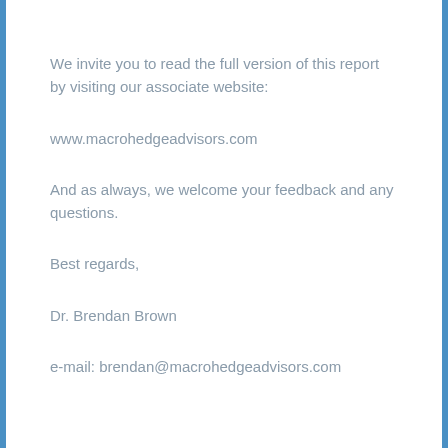We invite you to read the full version of this report by visiting our associate website:
www.macrohedgeadvisors.com
And as always, we welcome your feedback and any questions.
Best regards,
Dr. Brendan Brown
e-mail: brendan@macrohedgeadvisors.com